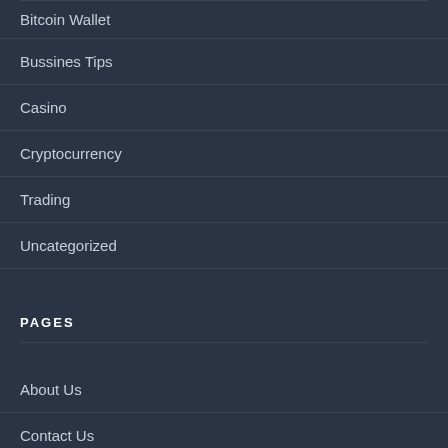Bitcoin Wallet
Bussines Tips
Casino
Cryptocurrency
Trading
Uncategorized
PAGES
About Us
Contact Us